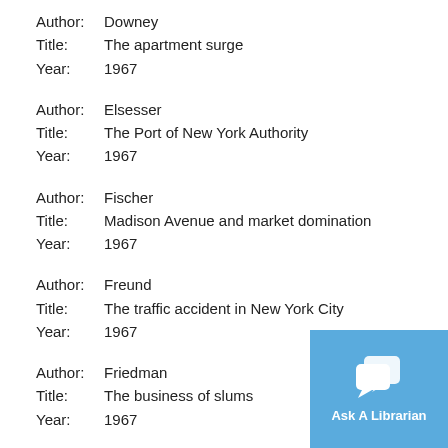Author: Downey
Title: The apartment surge
Year: 1967
Author: Elsesser
Title: The Port of New York Authority
Year: 1967
Author: Fischer
Title: Madison Avenue and market domination
Year: 1967
Author: Freund
Title: The traffic accident in New York City
Year: 1967
Author: Friedman
Title: The business of slums
Year: 1967
[Figure (other): Ask A Librarian chat button widget with two overlapping speech bubble icons on a blue background]